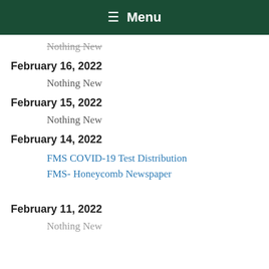≡ Menu
Nothing New
February 16, 2022
Nothing New
February 15, 2022
Nothing New
February 14, 2022
FMS COVID-19 Test Distribution
FMS- Honeycomb Newspaper
February 11, 2022
Nothing New